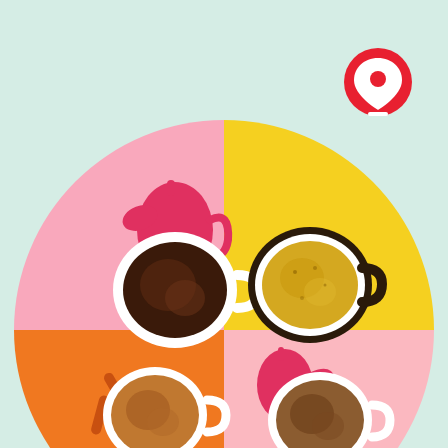[Figure (illustration): App UI illustration: mint/light-green background with a large circle divided into four quadrants (pink top-left, yellow top-right, orange bottom-left, light-pink bottom-right). Each quadrant shows a top-down photo of a coffee/beverage cup. Pink quadrant has a dark espresso/hot chocolate cup with a red illustrated coffee-pot icon. Yellow quadrant has a yellow/golden latte cup. Orange quadrant has a brown coffee cup with an orange illustrated spoon/stirrer icon. Light-pink bottom-right quadrant has another coffee cup with a red illustrated pitcher icon. A red circular location-pin icon sits in the upper-right corner of the overall image.]